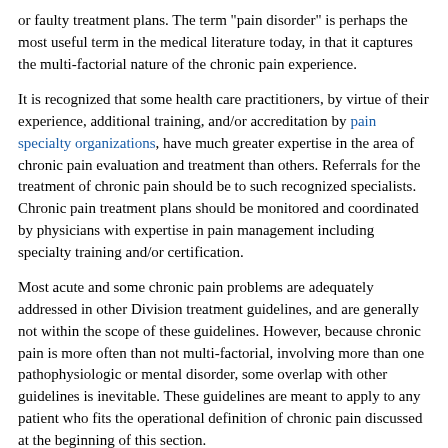or faulty treatment plans. The term "pain disorder" is perhaps the most useful term in the medical literature today, in that it captures the multi-factorial nature of the chronic pain experience.
It is recognized that some health care practitioners, by virtue of their experience, additional training, and/or accreditation by pain specialty organizations, have much greater expertise in the area of chronic pain evaluation and treatment than others. Referrals for the treatment of chronic pain should be to such recognized specialists. Chronic pain treatment plans should be monitored and coordinated by physicians with expertise in pain management including specialty training and/or certification.
Most acute and some chronic pain problems are adequately addressed in other Division treatment guidelines, and are generally not within the scope of these guidelines. However, because chronic pain is more often than not multi-factorial, involving more than one pathophysiologic or mental disorder, some overlap with other guidelines is inevitable. These guidelines are meant to apply to any patient who fits the operational definition of chronic pain discussed at the beginning of this section.
DEFINITIONS